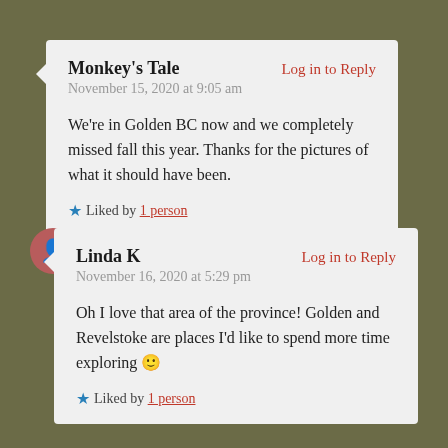Monkey's Tale — November 15, 2020 at 9:05 am — We're in Golden BC now and we completely missed fall this year. Thanks for the pictures of what it should have been. — Liked by 1 person
Linda K — November 16, 2020 at 5:29 pm — Oh I love that area of the province! Golden and Revelstoke are places I'd like to spend more time exploring 🙂 — Liked by 1 person